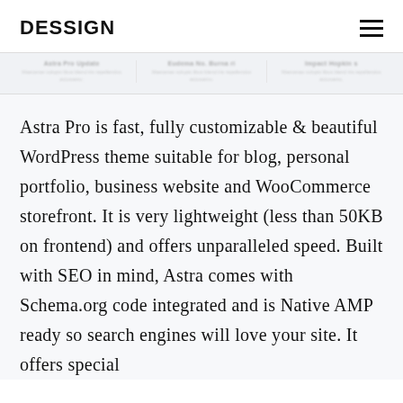DESSIGN
[Figure (screenshot): Three blurred card items in a light gray strip, each with a blurred title and blurred description text reading 'Maecenas volupis libus blend iris repellendus accusamu.']
Astra Pro is fast, fully customizable & beautiful WordPress theme suitable for blog, personal portfolio, business website and WooCommerce storefront. It is very lightweight (less than 50KB on frontend) and offers unparalleled speed. Built with SEO in mind, Astra comes with Schema.org code integrated and is Native AMP ready so search engines will love your site. It offers special